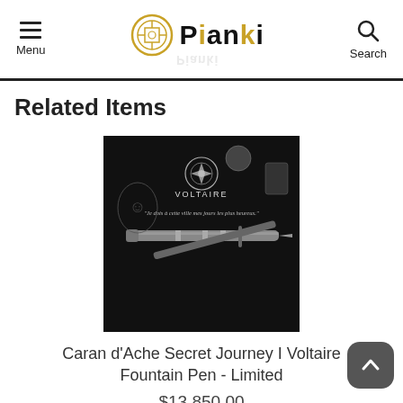Menu | Pianki | Search
Related Items
[Figure (photo): Product image of Caran d'Ache Secret Journey I Voltaire Fountain Pen on black background with Voltaire text and quote 'Je dois à cette ville mes jours les plus heureux.']
Caran d'Ache Secret Journey I Voltaire Fountain Pen - Limited
$13,850.00